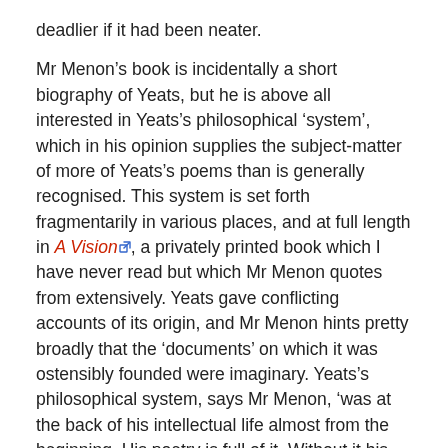deadlier if it had been neater.
Mr Menon’s book is incidentally a short biography of Yeats, but he is above all interested in Yeats’s philosophical ‘system’, which in his opinion supplies the subject-matter of more of Yeats’s poems than is generally recognised. This system is set forth fragmentarily in various places, and at full length in A Vision, a privately printed book which I have never read but which Mr Menon quotes from extensively. Yeats gave conflicting accounts of its origin, and Mr Menon hints pretty broadly that the ‘documents’ on which it was ostensibly founded were imaginary. Yeats’s philosophical system, says Mr Menon, ‘was at the back of his intellectual life almost from the beginning. His poetry is full of it. Without it his later poetry becomes almost completely unintelligible.’ As soon as we begin to read about the so-called system we are in the middle of a hocus-pocus of Great Wheels, gyres, cycles of the moon, reincarnation, disembodied spirits, astrology and what not. Yeats hedges as to the literalness with which he believed in all this, but he certainly dabbled in spiritualism and